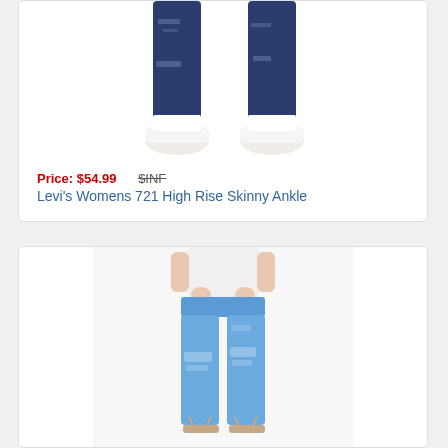[Figure (photo): Cropped photo showing lower half of a person wearing dark blue ripped skinny jeans with white sneakers, on white background]
Price: $54.99   $INF
Levi's Womens 721 High Rise Skinny Ankle
[Figure (photo): Photo of a woman wearing light blue ripped skinny jeans with strappy sandals, on white/grey background]